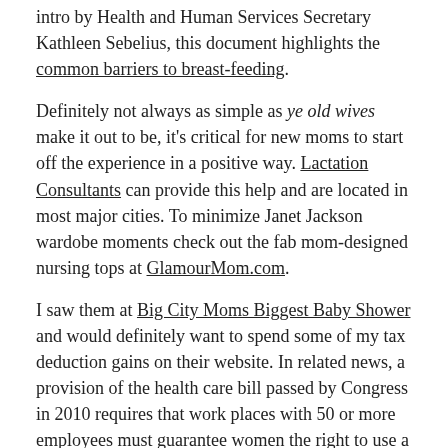intro by Health and Human Services Secretary Kathleen Sebelius, this document highlights the common barriers to breast-feeding.
Definitely not always as simple as ye old wives make it out to be, it's critical for new moms to start off the experience in a positive way. Lactation Consultants can provide this help and are located in most major cities. To minimize Janet Jackson wardobe moments check out the fab mom-designed nursing tops at GlamourMom.com.
I saw them at Big City Moms Biggest Baby Shower and would definitely want to spend some of my tax deduction gains on their website. In related news, a provision of the health care bill passed by Congress in 2010 requires that work places with 50 or more employees must guarantee women the right to use a breast pump at work in a private setting.
In her April 9, 2010 Motherlode column, Lisa Belkin addresses these changes. Belkin highlights that this new ruling will close the gap on this issue for women who are hourly workers...